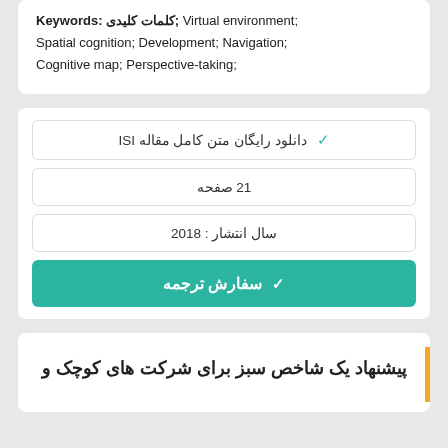Keywords: کلمات کلیدی; Virtual environment; Spatial cognition; Development; Navigation; Cognitive map; Perspective-taking;
✓ دانلود رایگان متن کامل مقاله ISI
21 صفحه
سال انتشار : 2018
✓ سفارش ترجمه
پیشنهاد یک شاخص سبز برای شرکت های کوچک و